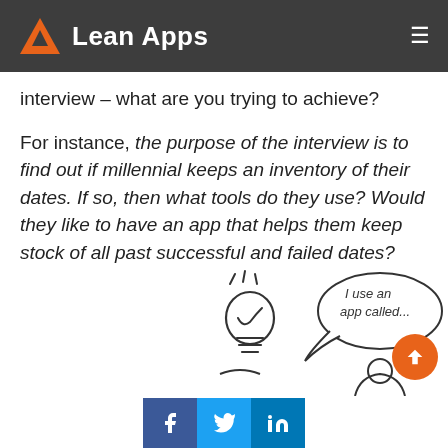Lean Apps
interview – what are you trying to achieve?
For instance, the purpose of the interview is to find out if millennial keeps an inventory of their dates. If so, then what tools do they use? Would they like to have an app that helps them keep stock of all past successful and failed dates?
[Figure (illustration): Hand-drawn illustration of a light bulb with speech bubble saying 'I use an app called...' and a person silhouette below]
[Figure (other): Social share buttons for Facebook, Twitter, and LinkedIn]